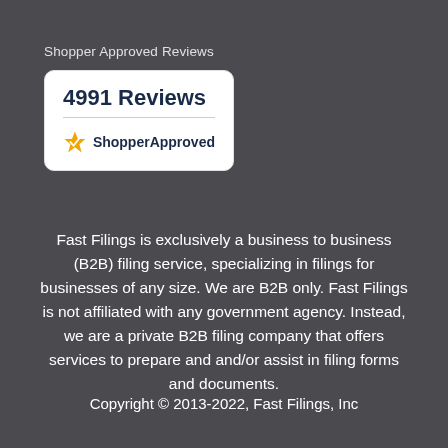Shopper Approved Reviews
[Figure (logo): Shopper Approved badge showing '4991 Reviews' in bold with the ShopperApproved logo (star icon in orange and text in dark blue) on a white rounded rectangle card]
Fast Filings is exclusively a business to business (B2B) filing service, specializing in filings for businesses of any size. We are B2B only. Fast Filings is not affiliated with any government agency. Instead, we are a private B2B filing company that offers services to prepare and and/or assist in filing forms and documents.
Copyright © 2013-2022, Fast Filings, Inc